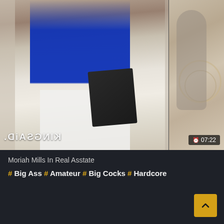[Figure (screenshot): Video thumbnail showing a woman in a blue top and white pants holding a dark folder/tablet, standing near white doors. A mirrored watermark text appears bottom-left. A smaller side panel image on the right shows another scene. Duration badge shows 07:22 in bottom-right.]
Moriah Mills In Real Asstate
# Big Ass # Amateur # Big Cocks # Hardcore